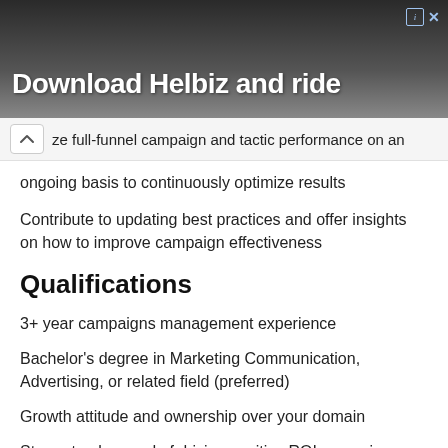[Figure (photo): Advertisement banner for Helbiz app showing a person with a scooter/drone in the background, dark overlay with text 'Download Helbiz and ride']
ze full-funnel campaign and tactic performance on an ongoing basis to continuously optimize results
Contribute to updating best practices and offer insights on how to improve campaign effectiveness
Qualifications
3+ year campaigns management experience
Bachelor's degree in Marketing Communication, Advertising, or related field (preferred)
Growth attitude and ownership over your domain
Strong track record of driving positive ROI campaigns
Solid understanding of r...